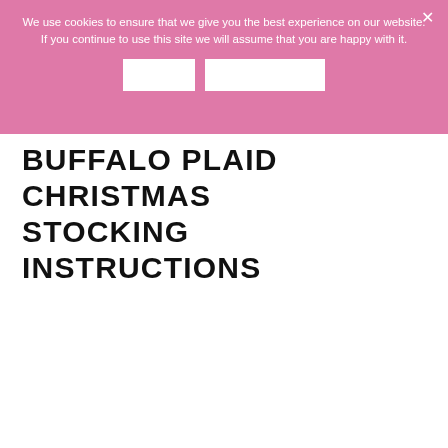We use cookies to ensure that we give you the best experience on our website. If you continue to use this site we will assume that you are happy with it.
[Figure (other): Cookie consent banner with two white button boxes and a close X button on a pink background]
BUFFALO PLAID CHRISTMAS STOCKING INSTRUCTIONS